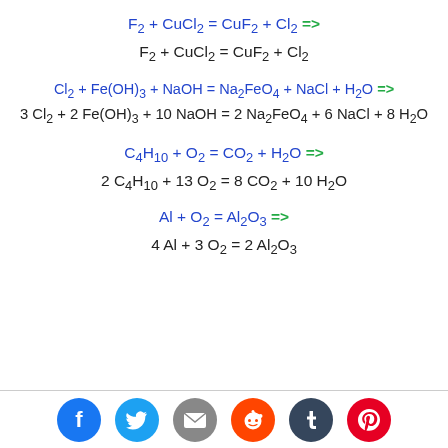[Figure (infographic): Social media share icons: Facebook (blue), Twitter (light blue), Email (gray), Reddit (orange), Tumblr (dark navy), Pinterest (red)]